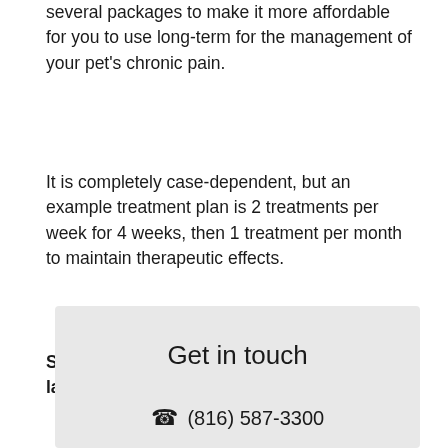several packages to make it more affordable for you to use long-term for the management of your pet's chronic pain.
It is completely case-dependent, but an example treatment plan is 2 treatments per week for 4 weeks, then 1 treatment per month to maintain therapeutic effects.
SHARE this post on Facebook for 1 free laser therapy session (a $30 value!).
Get in touch
(816) 587-3300